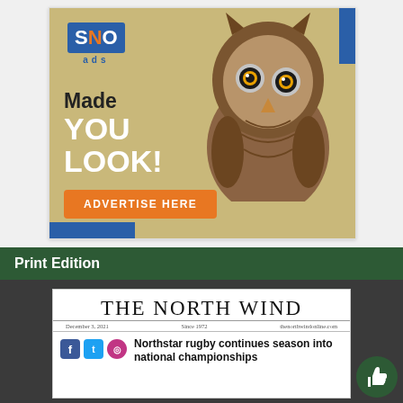[Figure (illustration): SNO ads advertisement banner featuring an owl with 'Made YOU LOOK!' text and 'ADVERTISE HERE' orange button call to action on a tan/gold background with blue accents.]
Print Edition
[Figure (screenshot): Preview of The North Wind newspaper front page showing the masthead 'THE NORTH WIND', date December 3, 2021, Since 1972, thenorthwindonline.com, with social media icons and headline 'Northstar rugby continues season into national championships']